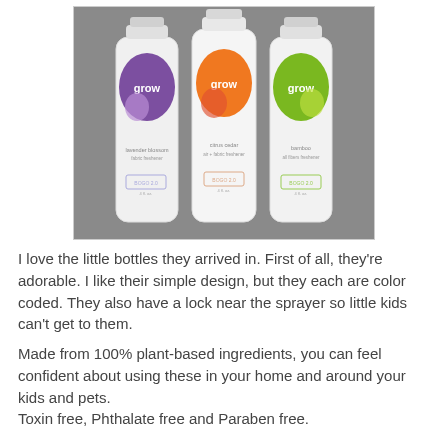[Figure (photo): Three white cylindrical spray bottles labeled 'grow' with colored oval logos — purple (lavender blossom fabric freshener), orange (citrus cedar air + fabric freshener), and green (bamboo all-fibers freshener) — standing on a gray surface.]
I love the little bottles they arrived in. First of all, they're adorable. I like their simple design, but they each are color coded. They also have a lock near the sprayer so little kids can't get to them.
Made from 100% plant-based ingredients, you can feel confident about using these in your home and around your kids and pets.
Toxin free, Phthalate free and Paraben free.